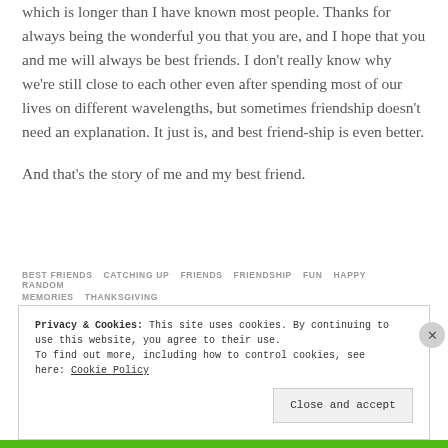which is longer than I have known most people. Thanks for always being the wonderful you that you are, and I hope that you and me will always be best friends. I don't really know why we're still close to each other even after spending most of our lives on different wavelengths, but sometimes friendship doesn't need an explanation. It just is, and best friend-ship is even better.
And that's the story of me and my best friend.
BEST FRIENDS  CATCHING UP  FRIENDS  FRIENDSHIP  FUN  HAPPY  RANDOM MEMORIES  THANKSGIVING
Privacy & Cookies: This site uses cookies. By continuing to use this website, you agree to their use.
To find out more, including how to control cookies, see here: Cookie Policy
Close and accept